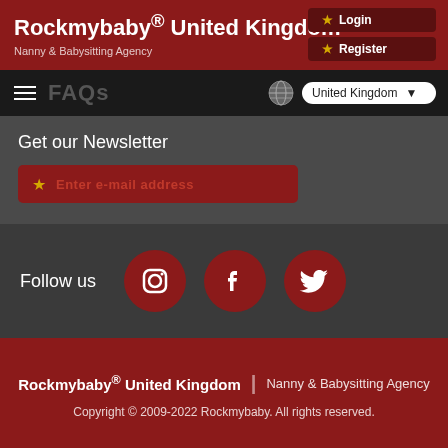Rockmybaby® United Kingdom — Nanny & Babysitting Agency
FAQs
United Kingdom
Get our Newsletter
Enter e-mail address
Follow us
Rockmybaby® United Kingdom | Nanny & Babysitting Agency
Copyright © 2009-2022 Rockmybaby. All rights reserved.